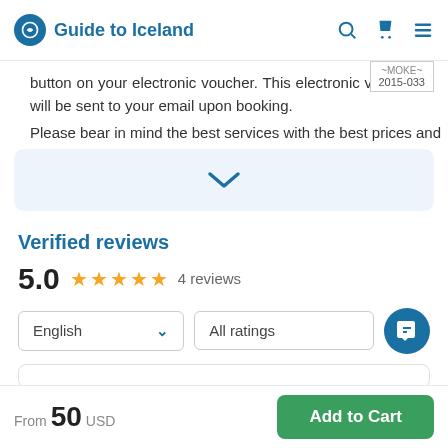Guide to Iceland
button on your electronic voucher. This electronic voucher will be sent to your email upon booking.
Please bear in mind the best services with the best prices and
[Figure (other): Expand/collapse chevron button in a light blue rounded box]
Verified reviews
5.0  ★★★★★  4 reviews
English (dropdown)  |  All ratings (dropdown)
From  50  USD
Add to Cart